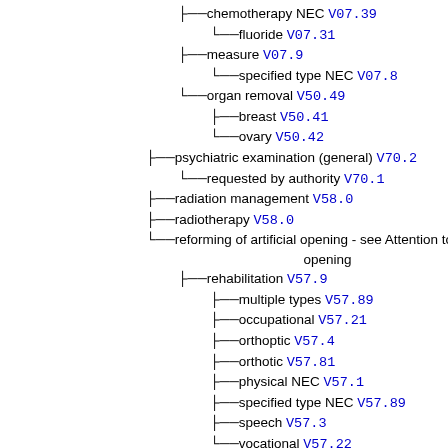chemotherapy NEC V07.39
fluoride V07.31
measure V07.9
specified type NEC V07.8
organ removal V50.49
breast V50.41
ovary V50.42
psychiatric examination (general) V70.2
requested by authority V70.1
radiation management V58.0
radiotherapy V58.0
reforming of artificial opening - see Attention to, artificial, opening
rehabilitation V57.9
multiple types V57.89
occupational V57.21
orthoptic V57.4
orthotic V57.81
physical NEC V57.1
specified type NEC V57.89
speech V57.3
vocational V57.22
removal of